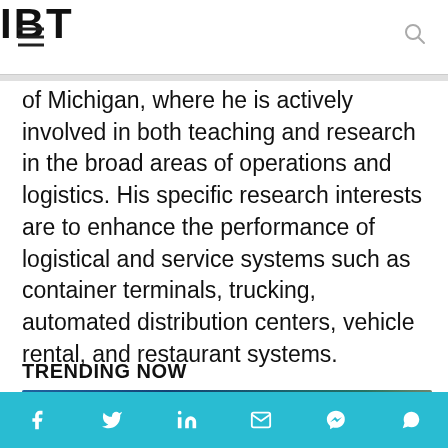IBT
of Michigan, where he is actively involved in both teaching and research in the broad areas of operations and logistics. His specific research interests are to enhance the performance of logistical and service systems such as container terminals, trucking, automated distribution centers, vehicle rental, and restaurant systems.
TRENDING NOW
[Figure (photo): Photo of a building with blue glass facade, partially visible at the bottom of the page]
Social share bar with icons: Facebook, Twitter, LinkedIn, Email, Messenger, WhatsApp